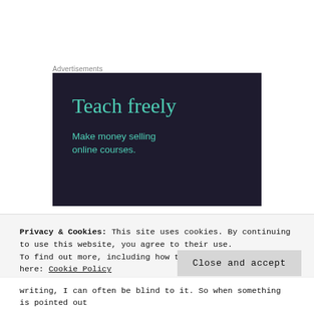Advertisements
[Figure (illustration): Dark navy advertisement banner reading 'Teach freely' in large teal serif font, with subtitle 'Make money selling online courses.' in teal sans-serif font on dark background.]
Privacy & Cookies: This site uses cookies. By continuing to use this website, you agree to their use.
To find out more, including how to control cookies, see here: Cookie Policy
Close and accept
writing, I can often be blind to it. So when something is pointed out